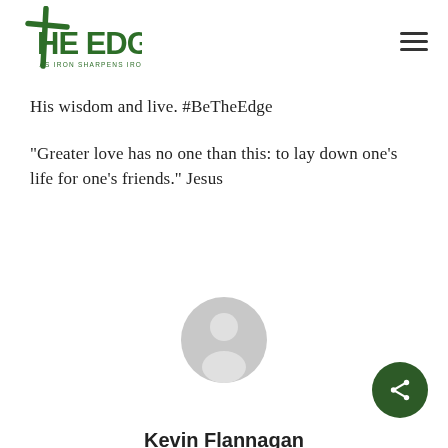[Figure (logo): The Edge logo with cross and text 'THE EDGE AS IRON SHARPENS IRON' in green]
His wisdom and live. #BeTheEdge
“Greater love has no one than this: to lay down one’s life for one’s friends.” Jesus
[Figure (illustration): Generic user avatar - grey circle with person silhouette]
Kevin Flannagan